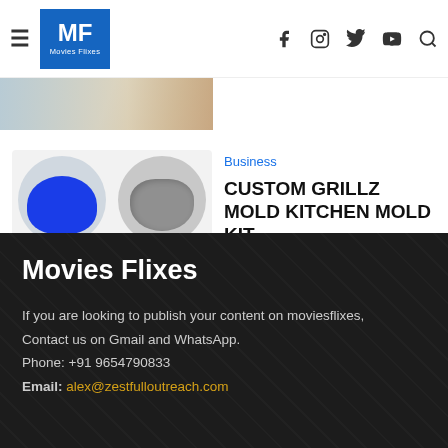MF Movies Flixes
[Figure (photo): Partial header image strip showing a photo]
Business
CUSTOM GRILLZ MOLD KITCHEN MOLD KIT
Amelia James - August 22, 2022
[Figure (photo): Custom Grillz mold kit showing blue putty in circular container, grey putty in circular container, and green dental tray]
Movies Flixes
If you are looking to publish your content on moviesflixes, Contact us on Gmail and WhatsApp.
Phone: +91 9654790833
Email: alex@zestfulloutreach.com